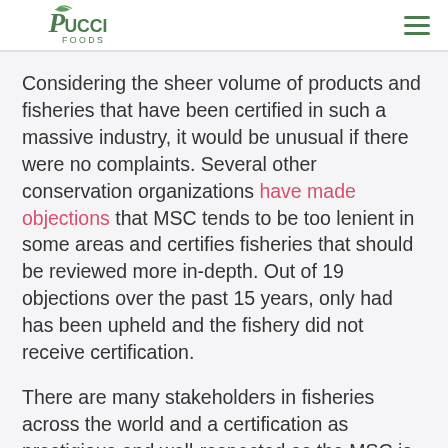Pucci Foods
Considering the sheer volume of products and fisheries that have been certified in such a massive industry, it would be unusual if there were no complaints. Several other conservation organizations have made objections that MSC tends to be too lenient in some areas and certifies fisheries that should be reviewed more in-depth. Out of 19 objections over the past 15 years, only had has been upheld and the fishery did not receive certification.
There are many stakeholders in fisheries across the world and a certification as prestigious and well-respected as the MSC is